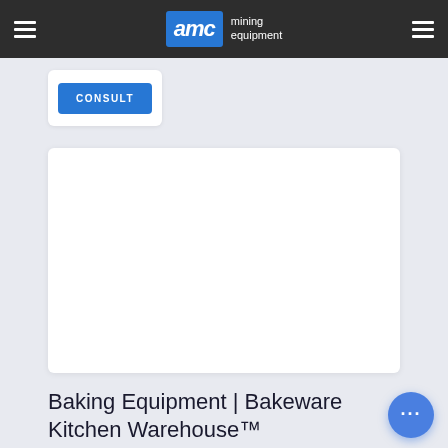AMC mining equipment
CONSULT
[Figure (screenshot): White blank content card area]
Baking Equipment | Bakeware Kitchen Warehouse™